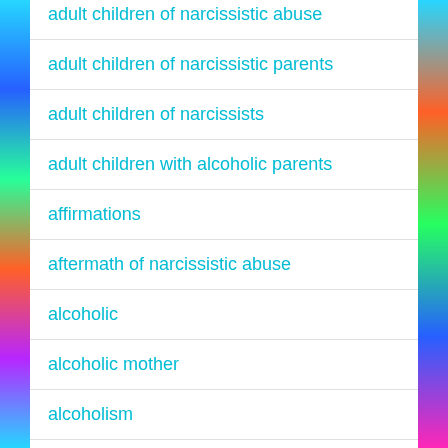adult children of narcissistic abuse
adult children of narcissistic parents
adult children of narcissists
adult children with alcoholic parents
affirmations
aftermath of narcissistic abuse
alcoholic
alcoholic mother
alcoholism